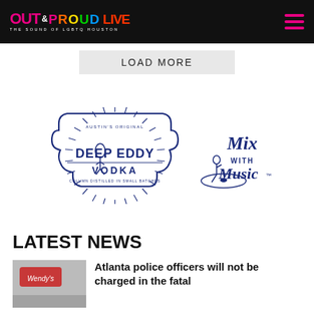OUT & PROUD LIVE — THE SOUND OF LGBTQ HOUSTON
LOAD MORE
[Figure (logo): Deep Eddy Vodka logo with 'Mix with Music' text — navy blue illustrated badge with sunburst and figure skater, script 'Mix with Music' text on right]
LATEST NEWS
Atlanta police officers will not be charged in the fatal